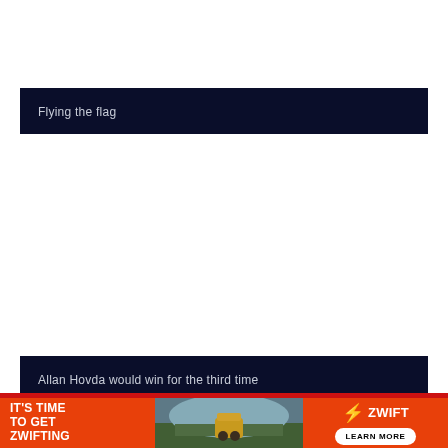Flying the flag
Allan Hovda would win for the third time
[Figure (infographic): Advertisement banner for Zwift cycling app. Left orange section reads 'IT'S TIME TO GET ZWIFTING' in bold white text. Middle section shows a photo of a cyclist on a mountain road. Right orange section shows the Zwift logo and a 'LEARN MORE' button.]